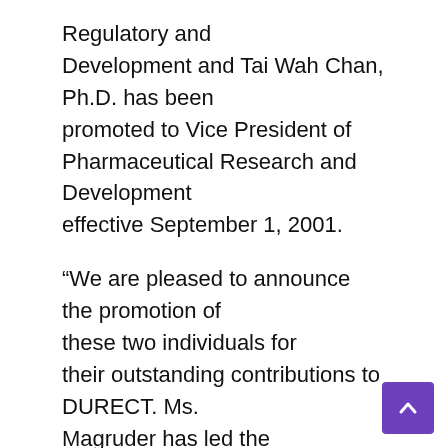Regulatory and Development and Tai Wah Chan, Ph.D. has been promoted to Vice President of Pharmaceutical Research and Development effective September 1, 2001.
“We are pleased to announce the promotion of these two individuals for their outstanding contributions to DURECT. Ms. Magruder has led the development efforts of the Chronogesic(TM) product and has been pivotal to the great progress and success made by the program to date as demonstrated by the positive results we announced recently with respect